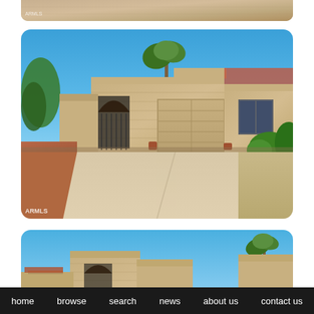[Figure (photo): Partial top view of a sandy/tan colored house exterior, cropped at top]
[Figure (photo): Exterior front view of a Southwest-style single-story home with stone facade, arched entry gate, double garage door, concrete driveway, desert landscaping with gravel, and palm trees under a bright blue sky. Watermark reading ARMLS at bottom-left.]
[Figure (photo): Partial bottom view of the same Southwest-style house exterior showing roofline and arched entrance, blue sky background, palm tree on right]
home   browse   search   news   about us   contact us